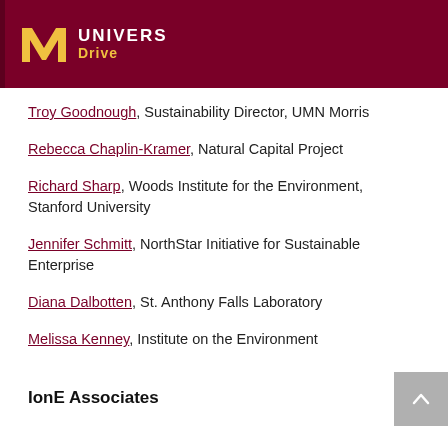UNIVERS Drive
Troy Goodnough, Sustainability Director, UMN Morris
Rebecca Chaplin-Kramer, Natural Capital Project
Richard Sharp, Woods Institute for the Environment, Stanford University
Jennifer Schmitt, NorthStar Initiative for Sustainable Enterprise
Diana Dalbotten, St. Anthony Falls Laboratory
Melissa Kenney, Institute on the Environment
IonE Associates